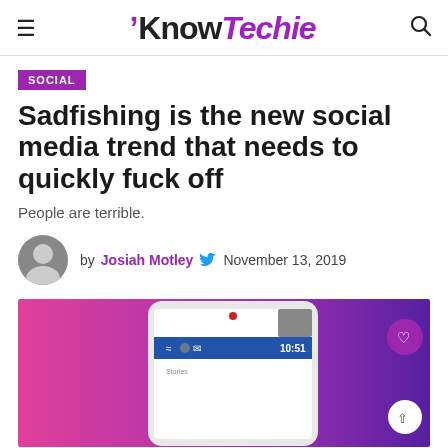KnowTechie
SOCIAL
Sadfishing is the new social media trend that needs to quickly fuck off
People are terrible.
by Josiah Motley  November 13, 2019
[Figure (photo): Hero image showing a smartphone mockup with Instagram-like interface on a purple/pink gradient background, showing a person on screen and status bar reading 10:51]